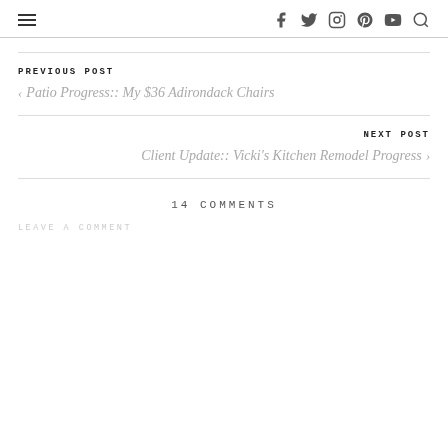≡  [social icons: facebook, twitter, instagram, pinterest, youtube, search]
PREVIOUS POST
< Patio Progress:: My $36 Adirondack Chairs
NEXT POST
Client Update:: Vicki's Kitchen Remodel Progress >
14 COMMENTS
LEAVE A COMMENT